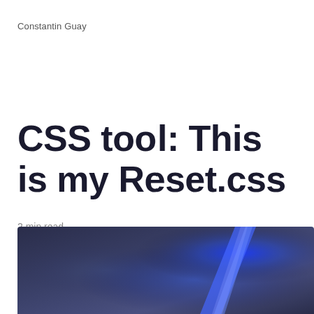Constantin Guay
CSS tool: This is my Reset.css
2 min read
[Figure (illustration): Abstract blurred blue and dark gradient background image, resembling a hero image for a blog post.]